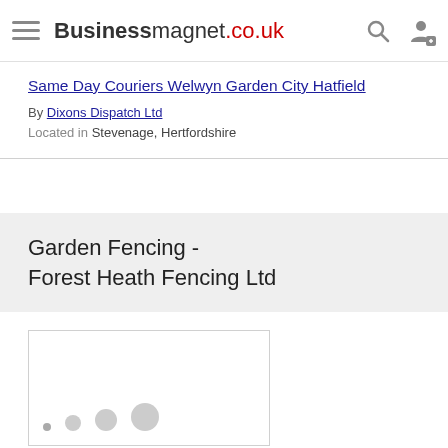Businessmagnet.co.uk
Same Day Couriers Welwyn Garden City Hatfield
By Dixons Dispatch Ltd
Located in Stevenage, Hertfordshire
Garden Fencing - Forest Heath Fencing Ltd
[Figure (photo): Loading image placeholder with progressive dots indicating a loading state]